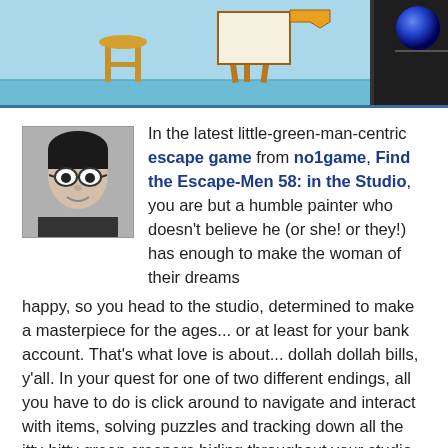[Figure (screenshot): Screenshot of an escape game scene showing a studio interior with a stool, easel, and dark doorway on a blue background. A blue marble/ball icon appears in the top right corner.]
In the latest little-green-man-centric escape game from no1game, Find the Escape-Men 58: in the Studio, you are but a humble painter who doesn't believe he (or she! or they!) has enough to make the woman of their dreams happy, so you head to the studio, determined to make a masterpiece for the ages... or at least for your bank account. That's what love is about... dollah dollah bills, y'all. In your quest for one of two different endings, all you have to do is click around to navigate and interact with items, solving puzzles and tracking down all the itty-bitty green creepers hiding throughout your studio.
Like all of no1game's titles, it's cleverly crafted and to the point, though it might lack enough real creative wiz